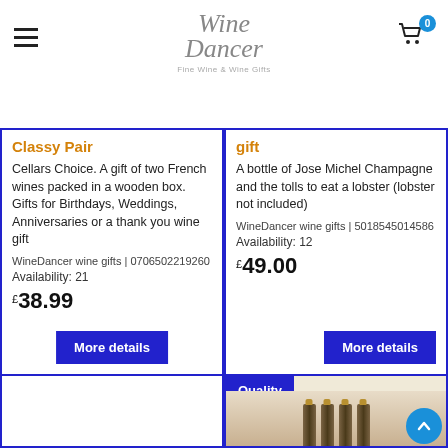Wine Dancer Fine Wine & Wine Gifts
Classy Pair
Cellars Choice. A gift of two French wines packed in a wooden box. Gifts for Birthdays, Weddings, Anniversaries or a thank you wine gift
WineDancer wine gifts | 0706502219260
Availability: 21
£38.99
gift
A bottle of Jose Michel Champagne and the tolls to eat a lobster (lobster not included)
WineDancer wine gifts | 5018545014586
Availability: 12
£49.00
Quality